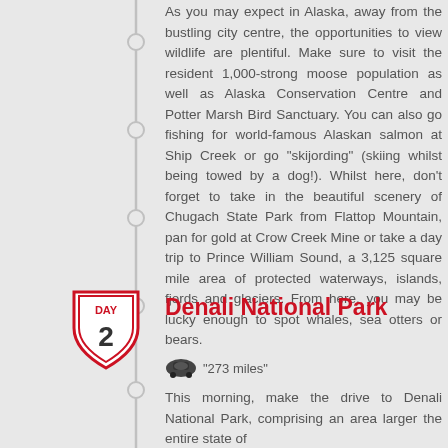As you may expect in Alaska, away from the bustling city centre, the opportunities to view wildlife are plentiful. Make sure to visit the resident 1,000-strong moose population as well as Alaska Conservation Centre and Potter Marsh Bird Sanctuary. You can also go fishing for world-famous Alaskan salmon at Ship Creek or go "skijording" (skiing whilst being towed by a dog!). Whilst here, don't forget to take in the beautiful scenery of Chugach State Park from Flattop Mountain, pan for gold at Crow Creek Mine or take a day trip to Prince William Sound, a 3,125 square mile area of protected waterways, islands, fjords and glaciers. From here, you may be lucky enough to spot whales, sea otters or bears.
[Figure (other): Route shield badge showing DAY 2]
Denali National Park
"273 miles"
This morning, make the drive to Denali National Park, comprising an area larger the entire state of